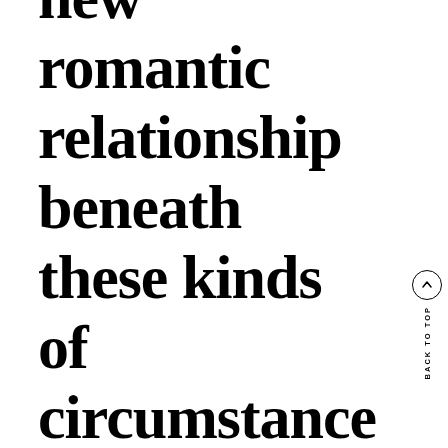new romantic relationship beneath these kinds of circumstances ought to be presented to be able